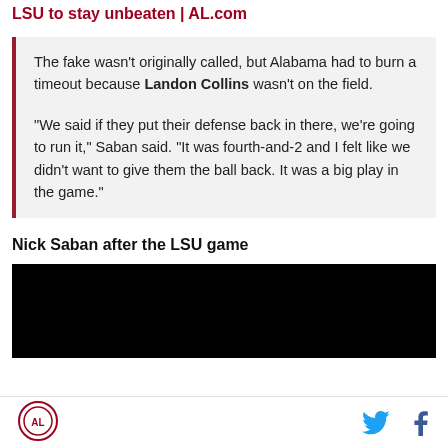Top-ranked Alabama wins, then pounds on No. 24 LSU to stay unbeaten | AL.com
The fake wasn't originally called, but Alabama had to burn a timeout because Landon Collins wasn't on the field.

"We said if they put their defense back in there, we're going to run it," Saban said. "It was fourth-and-2 and I felt like we didn't want to give them the ball back. It was a big play in the game."
Nick Saban after the LSU game
[Figure (screenshot): Black video player embed area]
AL.com logo | Twitter icon | Facebook icon